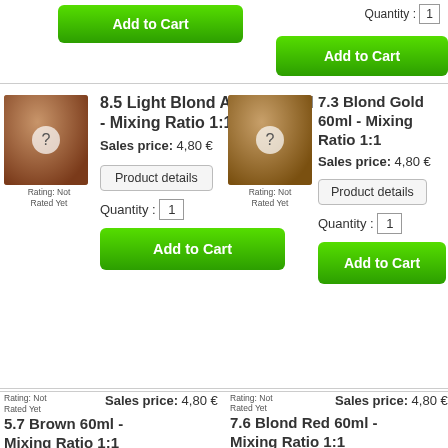[Figure (screenshot): E-commerce product listing page showing hair color products with Add to Cart buttons, product images, ratings, prices, and quantity selectors]
8.5 Light Blond Acajou 60ml - Mixing Ratio 1:1
Sales price: 4,80 €
Rating: Not Rated Yet
Product details
Quantity : 1
Add to Cart
7.3 Blond Gold 60ml - Mixing Ratio 1:1
Sales price: 4,80 €
Rating: Not Rated Yet
Product details
Quantity : 1
Add to Cart
5.7 Brown 60ml - Mixing Ratio 1:1
Sales price: 4,80 €
Rating: Not Rated Yet
Product details
Quantity : 1
7.6 Blond Red 60ml - Mixing Ratio 1:1
Sales price: 4,80 €
Rating: Not Rated Yet
Product details
Quantity : 1